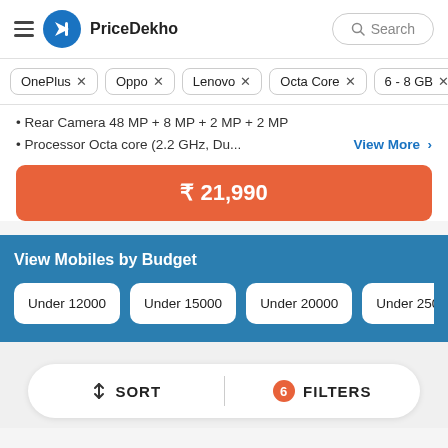PriceDekho — Search
OnePlus ×
Oppo ×
Lenovo ×
Octa Core ×
6 - 8 GB ×
• Rear Camera 48 MP + 8 MP + 2 MP + 2 MP
• Processor Octa core (2.2 GHz, Du...   View More >
₹ 21,990
View Mobiles by Budget
Under 12000
Under 15000
Under 20000
Under 2500
↕ SORT   |   6 FILTERS